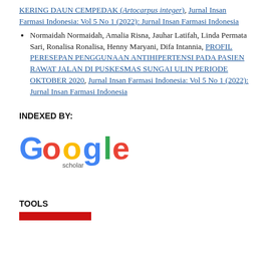KERING DAUN CEMPEDAK (Artocarpus integer), Jurnal Insan Farmasi Indonesia: Vol 5 No 1 (2022): Jurnal Insan Farmasi Indonesia
Normaidah Normaidah, Amalia Risna, Jauhar Latifah, Linda Permata Sari, Ronalisa Ronalisa, Henny Maryani, Difa Intannia, PROFIL PERESEPAN PENGGUNAAN ANTIHIPERTENSI PADA PASIEN RAWAT JALAN DI PUSKESMAS SUNGAI ULIN PERIODE OKTOBER 2020, Jurnal Insan Farmasi Indonesia: Vol 5 No 1 (2022): Jurnal Insan Farmasi Indonesia
INDEXED BY:
[Figure (logo): Google Scholar logo]
TOOLS